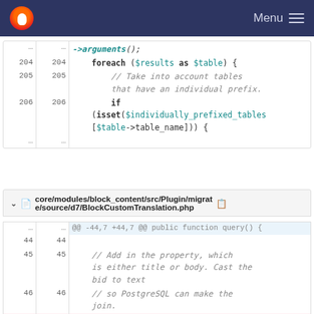Menu
[Figure (screenshot): Code diff block showing PHP foreach loop lines 204-206 with ellipsis dots row]
core/modules/block_content/src/Plugin/migrate/source/d7/BlockCustomTranslation.php
[Figure (screenshot): Code diff block showing PHP function lines 44-47 with comments about property and PostgreSQL]